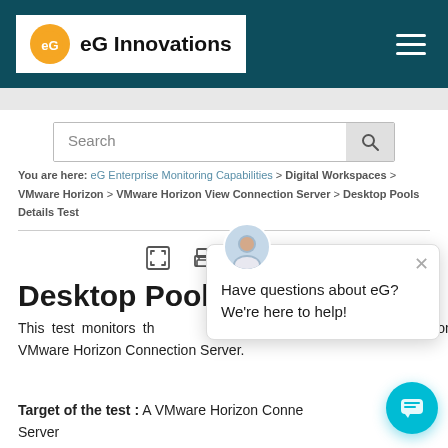[Figure (logo): eG Innovations logo with orange circle and company name, on dark teal header with hamburger menu]
[Figure (screenshot): Search bar with magnifying glass icon]
You are here: eG Enterprise Monitoring Capabilities > Digital Workspaces > VMware Horizon > VMware Horizon View Connection Server > Desktop Pools Details Test
[Figure (screenshot): Toolbar with expand, print, back, and forward icons]
Desktop Pools D...
This test monitors the desktop pool configured on a VMware Horizon Connection Server.
Target of the test : A VMware Horizon Connection Server
[Figure (screenshot): Chat popup: Have questions about eG? We're here to help! with avatar and close button]